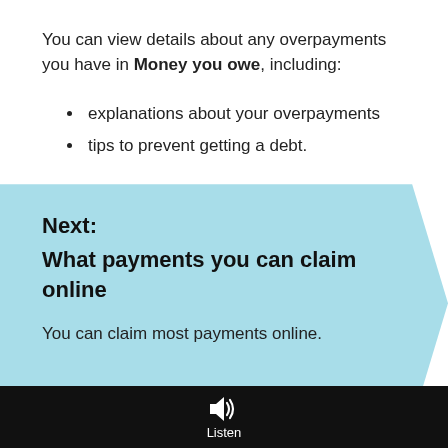You can view details about any overpayments you have in Money you owe, including:
explanations about your overpayments
tips to prevent getting a debt.
Next: What payments you can claim online
You can claim most payments online.
Listen